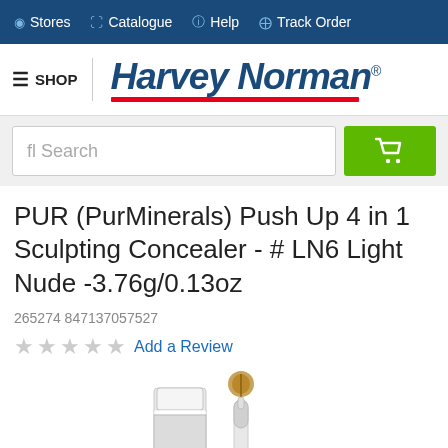Stores  Catalogue  Help  Track Order
[Figure (logo): Harvey Norman logo with blue italic text and red underline]
fl Search
PUR (PurMinerals) Push Up 4 in 1 Sculpting Concealer - # LN6 Light Nude -3.76g/0.13oz
265274 847137057527
Add a Review
[Figure (photo): PUR concealer product photo showing two concealer items - a compact tube and a brush applicator]